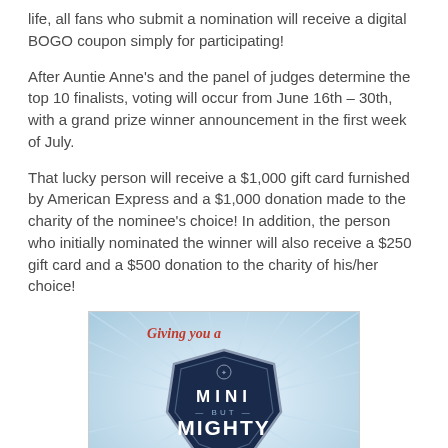life, all fans who submit a nomination will receive a digital BOGO coupon simply for participating!
After Auntie Anne’s and the panel of judges determine the top 10 finalists, voting will occur from June 16th – 30th, with a grand prize winner announcement in the first week of July.
That lucky person will receive a $1,000 gift card furnished by American Express and a $1,000 donation made to the charity of the nominee's choice! In addition, the person who initially nominated the winner will also receive a $250 gift card and a $500 donation to the charity of his/her choice!
[Figure (illustration): Promotional image with text 'Giving you a' in red script, a dark navy shield/badge shape with 'MINI BUT MIGHTY' in white bold letters, and a green banner at bottom reading 'THANK YOU'. Light blue radial burst background.]